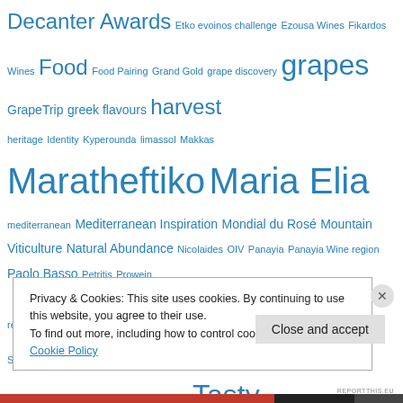Decanter Awards Etko evoinos challenge Ezousa Wines Fikardos Wines Food Food Pairing Grand Gold grape discovery grapes GrapeTrip greek flavours harvest heritage Identity Kyperounda limassol Makkas Maratheftiko Maria Elia mediterranean Mediterranean Inspiration Mondial du Rosé Mountain Viticulture Natural Abundance Nicolaides OIV Panayia Panayia Wine region Paolo Basso Petritis Prowein recipes Rosé Smashing Plates Sodap Sodap Wines sommelier St.Barnabas Stroumbeli tastes of Cyprus Tasty Experience Thessaloniki Tsangarides vasos manoli Vineyards Vouni Panayia white wine Wine Wine Competitions wine judging Winemaker Winemaking Wine regions Wine reviews Winery wine styles Wine Tasting Xynisteri Zambartas
Privacy & Cookies: This site uses cookies. By continuing to use this website, you agree to their use. To find out more, including how to control cookies, see here: Cookie Policy
Close and accept